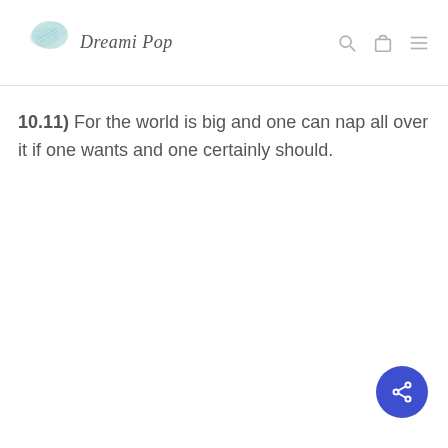Dreami Pop
10.11)  For the world is big and one can nap all over it if one wants and one certainly should.
[Figure (other): Share button — blue circular button with a share/network icon in white]